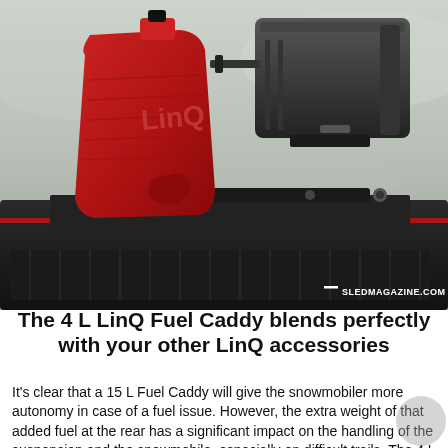[Figure (photo): Close-up photo of a red 4L LinQ Fuel Caddy mounted on a snowmobile next to a black LinQ storage box, with snow in the background. Watermark reads '= SLEDMAGAZINE.COM' in bottom-right corner.]
The 4 L LinQ Fuel Caddy blends perfectly with your other LinQ accessories
It's clear that a 15 L Fuel Caddy will give the snowmobiler more autonomy in case of a fuel issue. However, the extra weight of that added fuel at the rear has a significant impact on the handling of the suspension and the snowmobile, especially on difficult trails. The 4 L Fuel Caddy becomes quite handy in these circumstances, as it's much lighter. It has a limited impact on your snowmobile's handling while offering additional peace of